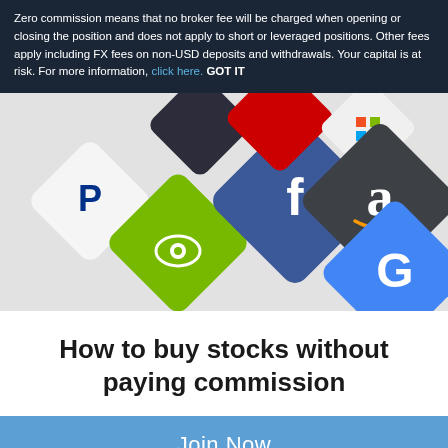Zero commission means that no broker fee will be charged when opening or closing the position and does not apply to short or leveraged positions. Other fees apply including FX fees on non-USD deposits and withdrawals. Your capital is at risk. For more information, click here. GOT IT
[Figure (illustration): Diamond-shaped app icons on a light grey background showing logos of various companies: PayPal, NVIDIA, Facebook, Amazon, Google, and others including Microsoft and one red icon]
How to buy stocks without paying commission
Join Now